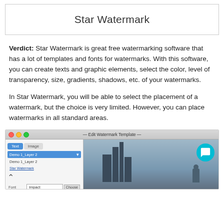Star Watermark
Verdict: Star Watermark is great free watermarking software that has a lot of templates and fonts for watermarks. With this software, you can create texts and graphic elements, select the color, level of transparency, size, gradients, shadows, etc. of your watermarks.
In Star Watermark, you will be able to select the placement of a watermark, but the choice is very limited. However, you can place watermarks in all standard areas.
[Figure (screenshot): Screenshot of the Star Watermark application showing the Edit Watermark Template window with a Mac-style interface. Left panel shows Text/Image tabs, layer selections including Demo 1_Layer 2 and Star Watermark, with font and size fields. Right panel shows a preview with a cityscape photo.]